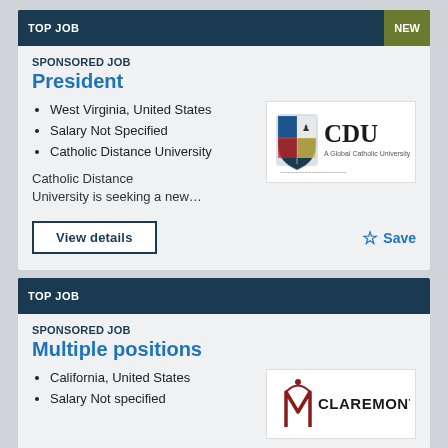TOP JOB | NEW
SPONSORED JOB
President
West Virginia, United States
Salary Not Specified
Catholic Distance University
[Figure (logo): CDU - A Global Catholic University logo]
Catholic Distance University is seeking a new…
View details
Save
TOP JOB
SPONSORED JOB
Multiple positions
California, United States
Salary Not specified
[Figure (logo): Claremont university logo]